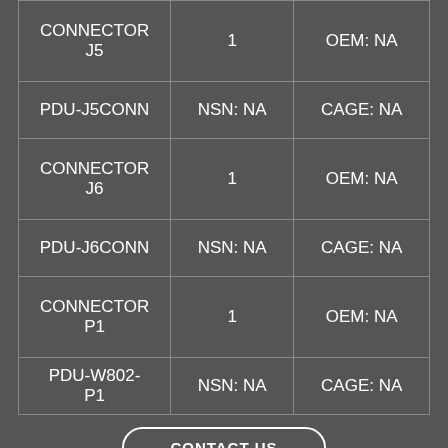| Item | Qty/NSN | OEM/CAGE |
| --- | --- | --- |
| CONNECTOR J5 | 1 | OEM: NA |
| PDU-J5CONN | NSN: NA | CAGE: NA |
| CONNECTOR J6 | 1 | OEM: NA |
| PDU-J6CONN | NSN: NA | CAGE: NA |
| CONNECTOR P1 | 1 | OEM: NA |
| PDU-W802-P1 | NSN: NA | CAGE: NA |
CONTACT US
732-938-6900   info@centralmetalfab.com